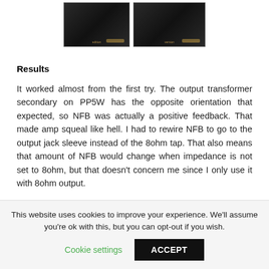[Figure (photo): Two photos of a black electronic audio amplifier device on a light blue background, shown from slightly different angles.]
Results
It worked almost from the first try. The output transformer secondary on PP5W has the opposite orientation that expected, so NFB was actually a positive feedback. That made amp squeal like hell. I had to rewire NFB to go to the output jack sleeve instead of the 8ohm tap. That also means that amount of NFB would change when impedance is not set to 8ohm, but that doesn't concern me since I only use it with 8ohm output.
This website uses cookies to improve your experience. We'll assume you're ok with this, but you can opt-out if you wish.
Cookie settings
ACCEPT